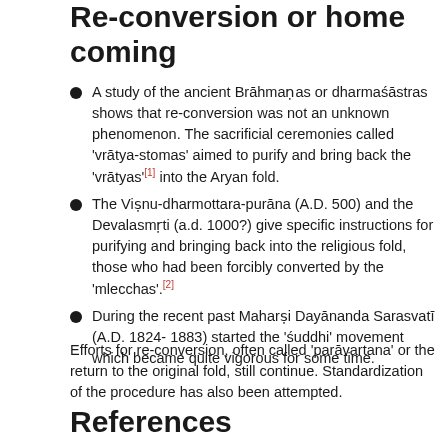Re-conversion or home coming
A study of the ancient Brāhmaṇas or dharmaśāstras shows that re-conversion was not an unknown phenomenon. The sacrificial ceremonies called 'vrātya-stomas' aimed to purify and bring back the 'vrātyas'[1] into the Aryan fold.
The Viṣnu-dharmottara-purāna (A.D. 500) and the Devalasmṛti (a.d. 1000?) give specific instructions for purifying and bringing back into the religious fold, those who had been forcibly converted by the 'mlecchas'.[2]
During the recent past Maharṣi Dayānanda Sarasvatī (A.D. 1824- 1883) started the 'śuddhi' movement which became quite vigorous for some time.
Efforts for re-conversion, often called 'parāvartana' or the return to the original fold, still continue. Standardization of the procedure has also been attempted.
References